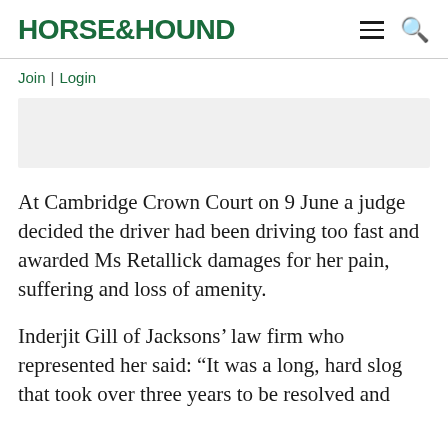HORSE&HOUND
Join | Login
[Figure (other): Advertisement placeholder banner (grey box)]
At Cambridge Crown Court on 9 June a judge decided the driver had been driving too fast and awarded Ms Retallick damages for her pain, suffering and loss of amenity.
Inderjit Gill of Jacksons' law firm who represented her said: “It was a long, hard slog that took over three years to be resolved and